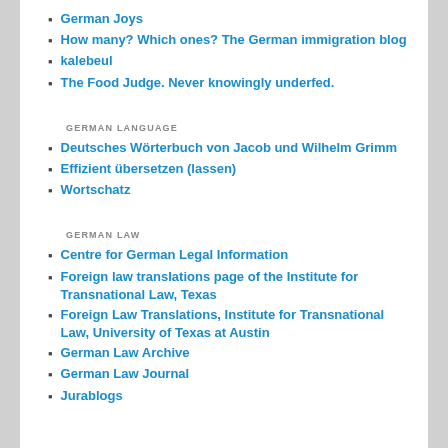German Joys
How many? Which ones? The German immigration blog
kalebeul
The Food Judge. Never knowingly underfed.
GERMAN LANGUAGE
Deutsches Wörterbuch von Jacob und Wilhelm Grimm
Effizient übersetzen (lassen)
Wortschatz
GERMAN LAW
Centre for German Legal Information
Foreign law translations page of the Institute for Transnational Law, Texas
Foreign Law Translations, Institute for Transnational Law, University of Texas at Austin
German Law Archive
German Law Journal
Jurablogs